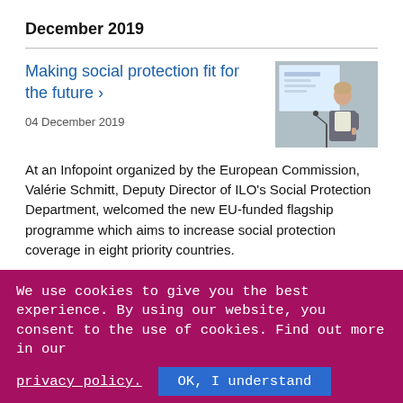December 2019
Making social protection fit for the future ›
04 December 2019
[Figure (photo): A woman speaking at a podium in front of a projected presentation screen]
At an Infopoint organized by the European Commission, Valérie Schmitt, Deputy Director of ILO's Social Protection Department, welcomed the new EU-funded flagship programme which aims to increase social protection coverage in eight priority countries.
We use cookies to give you the best experience. By using our website, you consent to the use of cookies. Find out more in our
privacy policy.
OK, I understand